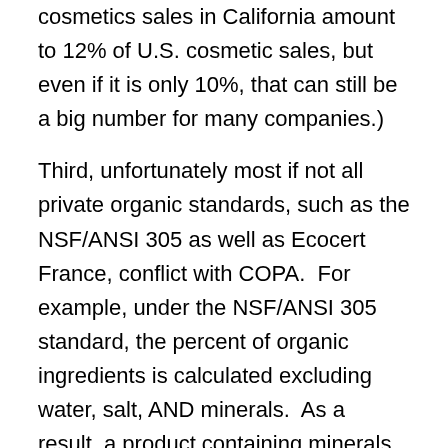cosmetics sales in California amount to 12% of U.S. cosmetic sales, but even if it is only 10%, that can still be a big number for many companies.)
Third, unfortunately most if not all private organic standards, such as the NSF/ANSI 305 as well as Ecocert France, conflict with COPA.  For example, under the NSF/ANSI 305 standard, the percent of organic ingredients is calculated excluding water, salt, AND minerals.  As a result, a product containing minerals that is 99% organic under NSF/ANSI 305 might only be 69% organic under COPA calculations. If that product was sold in California with the 99% organic statement it may arguably be misleading to